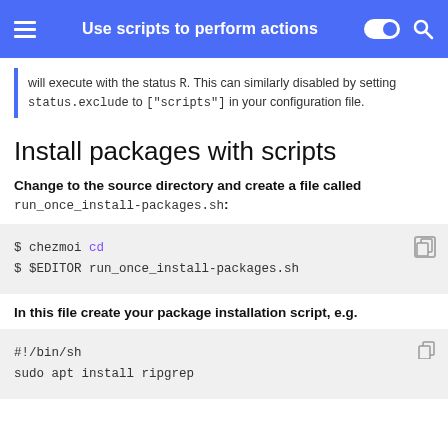Use scripts to perform actions
will execute with the status R. This can similarly disabled by setting status.exclude to ["scripts"] in your configuration file.
Install packages with scripts
Change to the source directory and create a file called run_once_install-packages.sh:
$ chezmoi cd
$ $EDITOR run_once_install-packages.sh
In this file create your package installation script, e.g.
#!/bin/sh
sudo apt install ripgrep